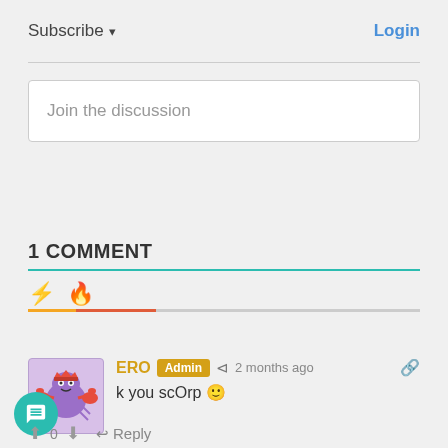Subscribe ▾
Login
Join the discussion
1 COMMENT
[Figure (illustration): Sort icons: lightning bolt and fire emoji with orange/red indicator bar below]
[Figure (illustration): User avatar: purple crab character with level 1 badge]
ERO Admin 2 months ago
k you scOrp 🙂
0 Reply